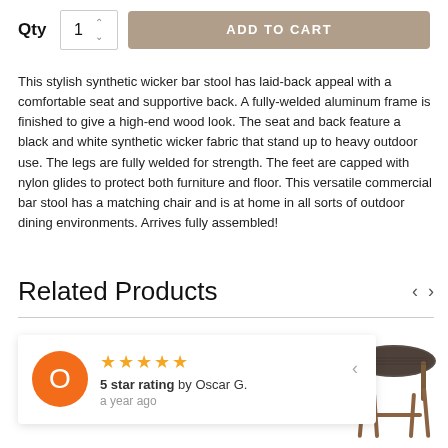Qty 1 ADD TO CART
This stylish synthetic wicker bar stool has laid-back appeal with a comfortable seat and supportive back. A fully-welded aluminum frame is finished to give a high-end wood look. The seat and back feature a black and white synthetic wicker fabric that stand up to heavy outdoor use. The legs are fully welded for strength. The feet are capped with nylon glides to protect both furniture and floor. This versatile commercial bar stool has a matching chair and is at home in all sorts of outdoor dining environments. Arrives fully assembled!
Related Products
5 star rating by Oscar G.
a year ago